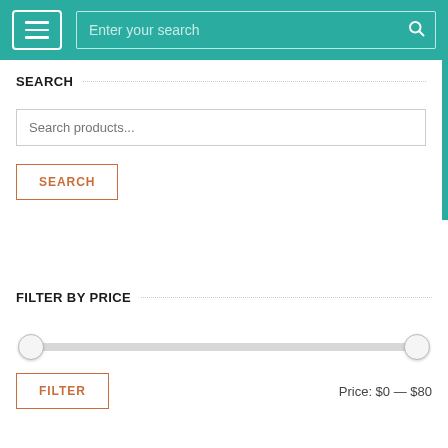Navigation bar with menu button and search input: Enter your search
SEARCH
Search products...
SEARCH
FILTER BY PRICE
Price: $0 — $80
FILTER